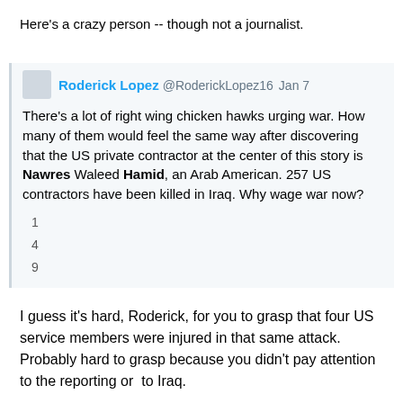Here's a crazy person -- though not a journalist.
[Figure (screenshot): Embedded tweet from Roderick Lopez (@RoderickLopez16) dated Jan 7. Tweet text: There's a lot of right wing chicken hawks urging war. How many of them would feel the same way after discovering that the US private contractor at the center of this story is Nawres Waleed Hamid, an Arab American. 257 US contractors have been killed in Iraq. Why wage war now? Stats: 1 reply, 4 retweets, 9 likes.]
I guess it's hard, Roderick, for you to grasp that four US service members were injured in that same attack.  Probably hard to grasp because you didn't pay attention to the reporting or  to Iraq.